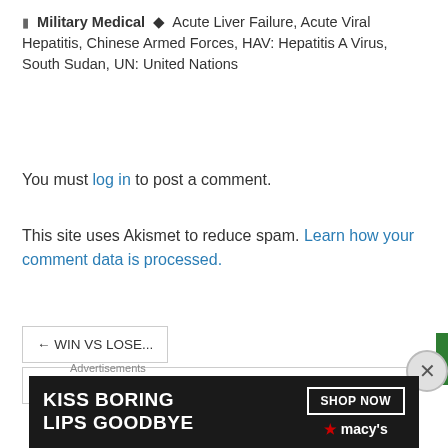Military Medical  •  Acute Liver Failure, Acute Viral Hepatitis, Chinese Armed Forces, HAV: Hepatitis A Virus, South Sudan, UN: United Nations
You must log in to post a comment.
This site uses Akismet to reduce spam. Learn how your comment data is processed.
← WIN VS LOSE...
LEADERSHIP: HOW TO DO VS WHAT TO DO... →
Advertisements
[Figure (other): Advertisement banner for Macy's makeup – 'KISS BORING LIPS GOODBYE' with SHOP NOW button and Macy's star logo on dark background]